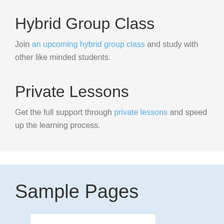Hybrid Group Class
Join an upcoming hybrid group class and study with other like minded students.
Private Lessons
Get the full support through private lessons and speed up the learning process.
Sample Pages
[Figure (other): White rectangle placeholder image area]